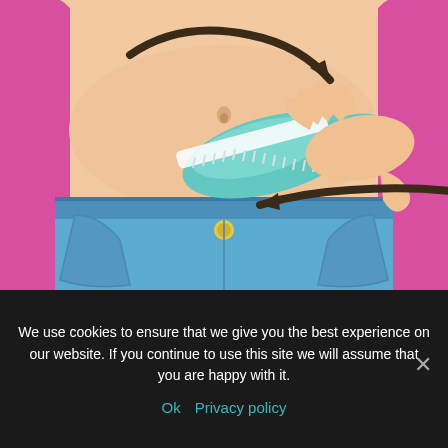[Figure (illustration): Illustration of a person's midsection showing a hand holding a teal/mint-colored massage brush against the stomach/abdomen area. The person is wearing blue jeans. Dark brown arrows indicate circular massage motion — one arrow curving clockwise at the top and one pointing left at the bottom. Background is pink/magenta. The brush appears to be scrubbing the belly area near the navel.]
Step 2. After taking a shower, apply some oil, and knead problem areas.
We use cookies to ensure that we give you the best experience on our website. If you continue to use this site we will assume that you are happy with it.
Ok  Privacy policy